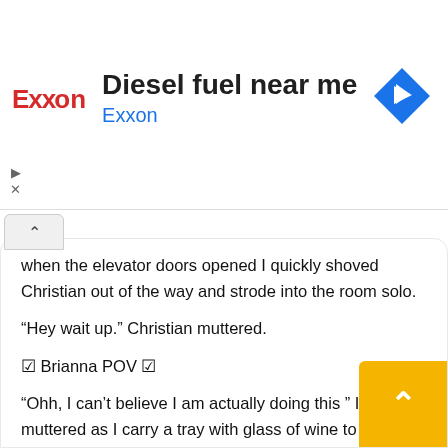[Figure (screenshot): Exxon advertisement banner with red Exxon logo, text 'Diesel fuel near me' in bold and 'Exxon' in blue, and a blue navigation arrow icon on the right]
when the elevator doors opened I quickly shoved Christian out of the way and strode into the room solo.
“Hey wait up.” Christian muttered.
☑ Brianna POV ☑
“Ohh, I can’t believe I am actually doing this ” I muttered as I carry a tray with glass of wine to serve some people just then someone from nowhere bumped into me making me fall including the glasses breaking into pieces
“What the…!!!! I yelled and looked up to see a beautif... hazel eyes looking at me
“Woah.. Are you okay?? I am really sorry ” he said as he drop to a squat. I was lost in his hazel eyes, he is soo